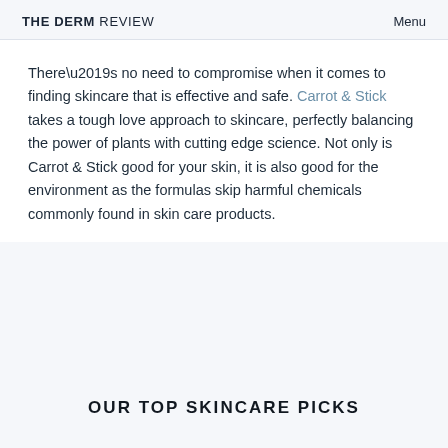THE DERM REVIEW   Menu
There’s no need to compromise when it comes to finding skincare that is effective and safe. Carrot & Stick takes a tough love approach to skincare, perfectly balancing the power of plants with cutting edge science. Not only is Carrot & Stick good for your skin, it is also good for the environment as the formulas skip harmful chemicals commonly found in skin care products.
OUR TOP SKINCARE PICKS